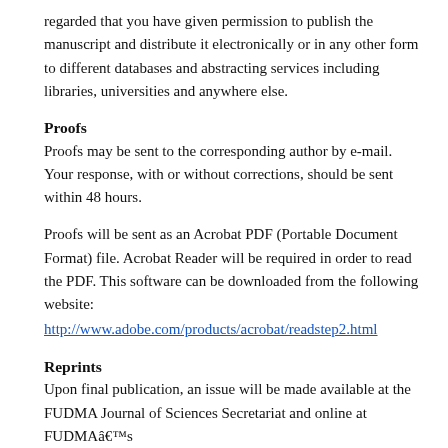regarded that you have given permission to publish the manuscript and distribute it electronically or in any other form to different databases and abstracting services including libraries, universities and anywhere else.
Proofs
Proofs may be sent to the corresponding author by e-mail. Your response, with or without corrections, should be sent within 48 hours.
Proofs will be sent as an Acrobat PDF (Portable Document Format) file. Acrobat Reader will be required in order to read the PDF. This software can be downloaded from the following website:
http://www.adobe.com/products/acrobat/readstep2.html
Reprints
Upon final publication, an issue will be made available at the FUDMA Journal of Sciences Secretariat and online at FUDMAâ€™s